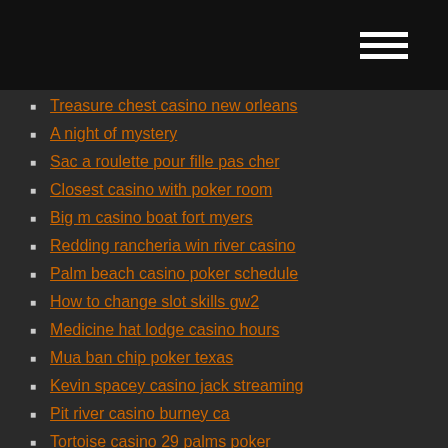Treasure chest casino new orleans
A night of mystery
Sac a roulette pour fille pas cher
Closest casino with poker room
Big m casino boat fort myers
Redding rancheria win river casino
Palm beach casino poker schedule
How to change slot skills gw2
Medicine hat lodge casino hours
Mua ban chip poker texas
Kevin spacey casino jack streaming
Pit river casino burney ca
Tortoise casino 29 palms poker
Geant casino saint laurent des arbres